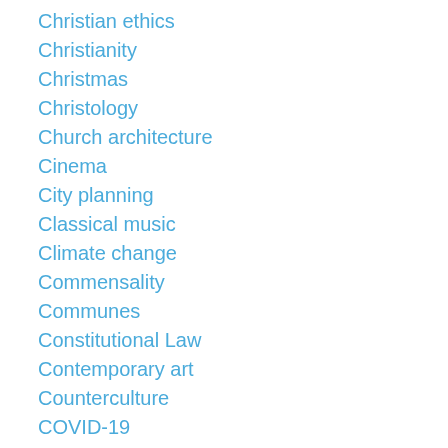Christian ethics
Christianity
Christmas
Christology
Church architecture
Cinema
City planning
Classical music
Climate change
Commensality
Communes
Constitutional Law
Contemporary art
Counterculture
COVID-19
Culture
Dance
Death
Disease
Dissent